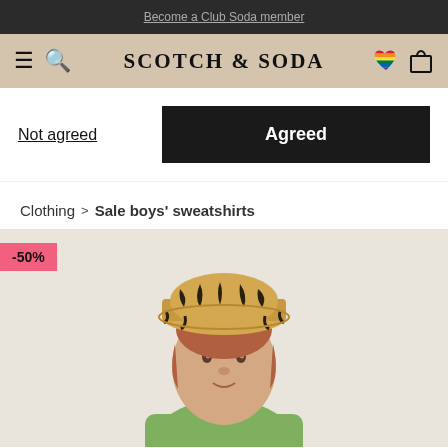Become a Club Soda member
[Figure (logo): Scotch & Soda navigation bar with hamburger menu, search icon, logo, heart icon (rainbow), and bag icon]
Not agreed
Agreed
Clothing > Sale boys' sweatshirts
[Figure (photo): Child wearing a tiger-print bucket hat and green shirt, shown against a beige background with a -50% discount badge]